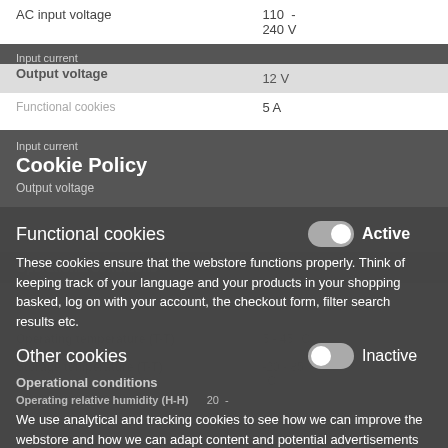| Specification | Value |
| --- | --- |
| AC input voltage | 110 - 240 V |
| Input current | 1.4 A |
| Output voltage | 12 V |
| Output current | 5 A |
| Power plug type | ANT-EU, JP, NA, UK |
| Operational conditions |  |
| Operating relative humidity (H-H) | 20 - 80% |
| Operating temperature (T-T) | 5 - 45 °C |
| Storage temperature (T-T) | -20 - 85 °C |
Cookie Policy
Input current
Output voltage
Functional cookies — Active
These cookies ensure that the webstore functions properly. Think of keeping track of your language and your products in your shopping basked, log on with your account, the checkout form, filter search results etc.
Other cookies — Inactive
Operational conditions
Operating relative humidity (H-H)
We use analytical and tracking cookies to see how we can improve the webstore and how we can adapt content and potential advertisements to your preference.
Operating temperature (T-T) — 5 - 45 °C
Storage temperature (T-T) — -20 - 85 °C